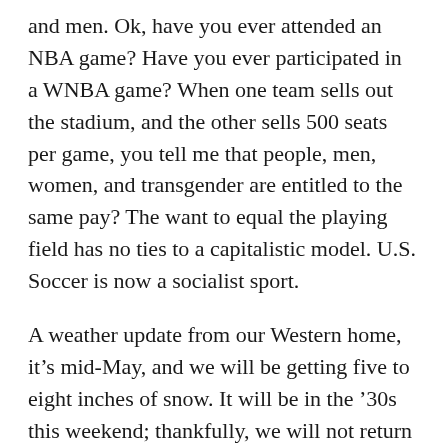and men. Ok, have you ever attended an NBA game? Have you ever participated in a WNBA game? When one team sells out the stadium, and the other sells 500 seats per game, you tell me that people, men, women, and transgender are entitled to the same pay? The want to equal the playing field has no ties to a capitalistic model. U.S. Soccer is now a socialist sport.
A weather update from our Western home, it's mid-May, and we will be getting five to eight inches of snow. It will be in the '30s this weekend; thankfully, we will not return until June 1st; by that time, it will be in the 80s, but never underestimate the volatility of mountain top weather; it's like a box of chocolates.
We live in an unfair and unjust world. No one is born the same; we are all snowflakes with our designs, gifts, rifts, and flaws. Life is not fair, but life is: if you work